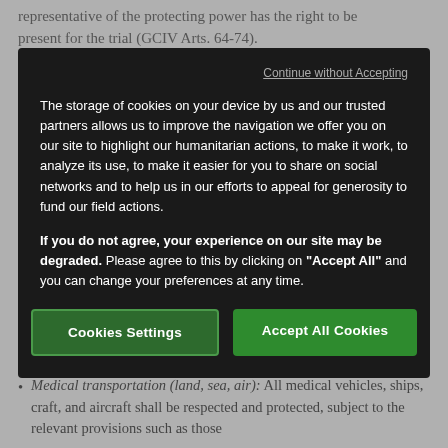representative of the protecting power has the right to be present for the trial (GCIV Arts. 64-74).
[Figure (screenshot): Cookie consent modal overlay with dark background. Contains 'Continue without Accepting' link, explanatory text about cookie storage, bold warning about degraded experience, and two buttons: 'Cookies Settings' and 'Accept All Cookies'.]
to all protected persons (GCIV Art. 142).
Medical transportation (land, sea, air): All medical vehicles, ships, craft, and aircraft shall be respected and protected, subject to the relevant provisions such as those